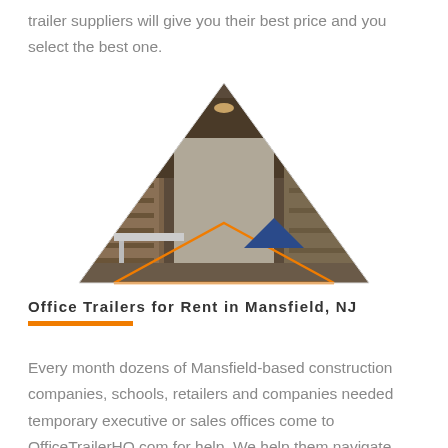trailer suppliers will give you their best price and you select the best one.
[Figure (illustration): Triangle-shaped composite image showing interior of an office trailer with modern furnishings, overlaid with an orange outline triangle and a smaller dark blue filled triangle]
Office Trailers for Rent in Mansfield, NJ
Every month dozens of Mansfield-based construction companies, schools, retailers and companies needed temporary executive or sales offices come to OfficeTrailerHQ.com for help. We help them navigate through